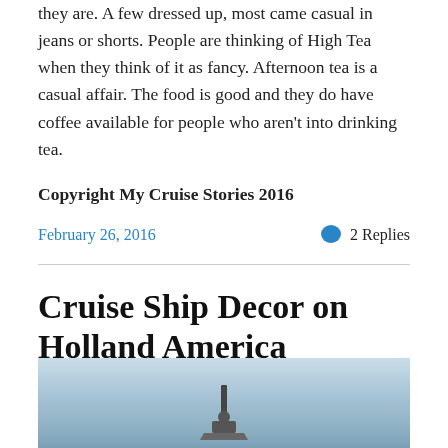they are. A few dressed up, most came casual in jeans or shorts. People are thinking of High Tea when they think of it as fancy. Afternoon tea is a casual affair. The food is good and they do have coffee available for people who aren't into drinking tea.
Copyright My Cruise Stories 2016
February 26, 2016   2 Replies
Cruise Ship Decor on Holland America Veendam
[Figure (photo): Photo of a ship or lighthouse in open water with sky background]